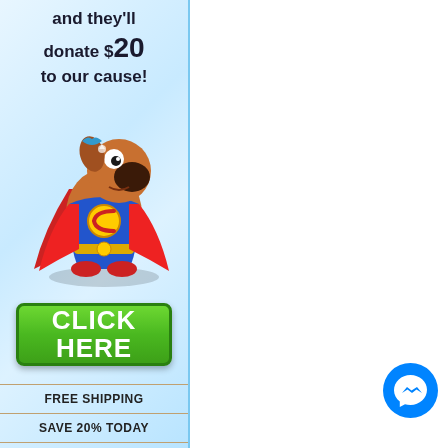and they'll donate $20 to our cause!
[Figure (illustration): Cartoon dog mascot dressed as a superhero with cape and costume bearing letter C]
[Figure (other): Green CLICK HERE button]
FREE SHIPPING
SAVE 20% TODAY
24/7 SERVICE
GREAT PRICES
[Figure (logo): Facebook Messenger blue circle icon with lightning bolt chat symbol]